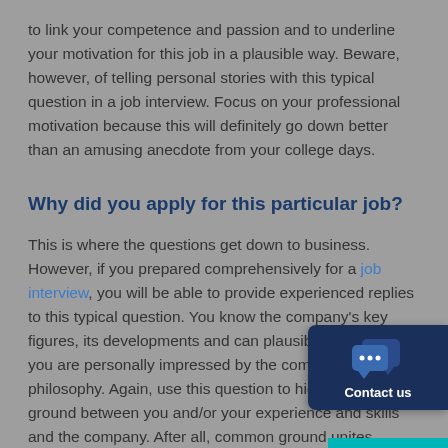to link your competence and passion and to underline your motivation for this job in a plausible way. Beware, however, of telling personal stories with this typical question in a job interview. Focus on your professional motivation because this will definitely go down better than an amusing anecdote from your college days.
Why did you apply for this particular job?
This is where the questions get down to business. However, if you prepared comprehensively for a job interview, you will be able to provide experienced replies to this typical question. You know the company's key figures, its developments and can plausibly show why you are personally impressed by the company philosophy. Again, use this question to highlight common ground between you and/or your experience and skills and the company. After all, common ground unites people and is always a good foundation for successful collaboration.
[Figure (other): Contact us chat widget button with speech bubble icons, dark navy background and teal bottom bar]